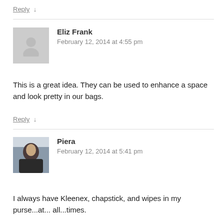Reply ↓
Eliz Frank
February 12, 2014 at 4:55 pm
This is a great idea. They can be used to enhance a space and look pretty in our bags.
Reply ↓
Piera
February 12, 2014 at 5:41 pm
I always have Kleenex, chapstick, and wipes in my purse...at...all...times.